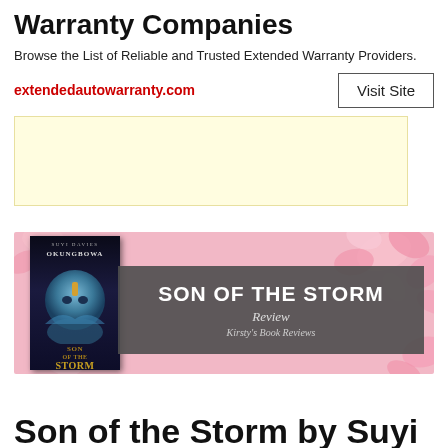Warranty Companies
Browse the List of Reliable and Trusted Extended Warranty Providers.
extendedautowarranty.com
[Figure (other): Visit Site button]
[Figure (other): Yellow advertisement placeholder box]
[Figure (illustration): Book banner for 'Son of the Storm' by Suyi Davies Okungbowa with pink floral background, book cover on the left, and grey overlay with title 'SON OF THE STORM Review' and 'Kirsty's Book Reviews' text]
Son of the Storm by Suyi